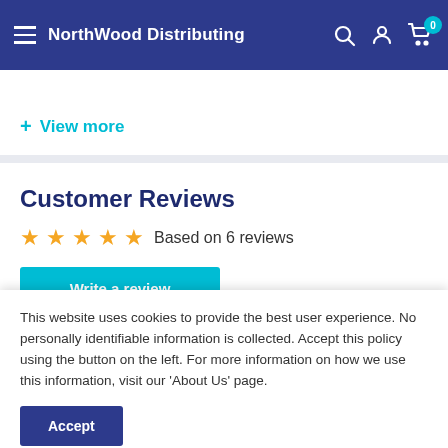NorthWood Distributing
+ View more
Customer Reviews
★★★★★ Based on 6 reviews
This website uses cookies to provide the best user experience. No personally identifiable information is collected. Accept this policy using the button on the left. For more information on how we use this information, visit our 'About Us' page.
Accept
You may also like